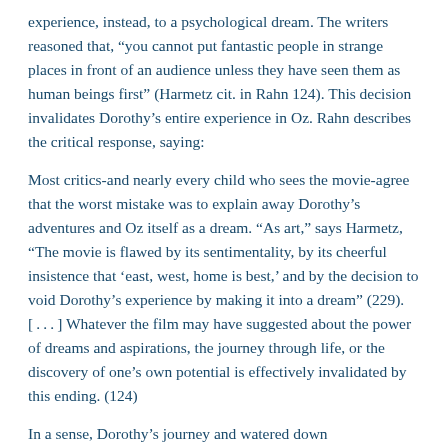experience, instead, to a psychological dream. The writers reasoned that, “you cannot put fantastic people in strange places in front of an audience unless they have seen them as human beings first” (Harmetz cit. in Rahn 124). This decision invalidates Dorothy’s entire experience in Oz. Rahn describes the critical response, saying:
Most critics-and nearly every child who sees the movie-agree that the worst mistake was to explain away Dorothy’s adventures and Oz itself as a dream. “As art,” says Harmetz, “The movie is flawed by its sentimentality, by its cheerful insistence that ‘east, west, home is best,’ and by the decision to void Dorothy’s experience by making it into a dream” (229). [ . . . ] Whatever the film may have suggested about the power of dreams and aspirations, the journey through life, or the discovery of one’s own potential is effectively invalidated by this ending. (124)
In a sense, Dorothy’s journey and watered down accomplishments become a counterfeit. The viewer has no reason to believe that Dorothy could survive outside of Kansas